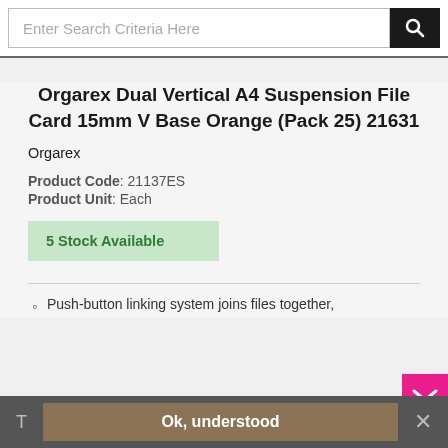Enter Search Criteria Here
Orgarex Dual Vertical A4 Suspension File Card 15mm V Base Orange (Pack 25) 21631
Orgarex
Product Code: 21137ES
Product Unit: Each
5 Stock Available
Push-button linking system joins files together,